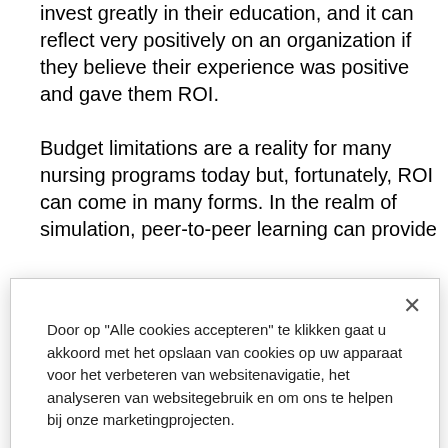invest greatly in their education, and it can reflect very positively on an organization if they believe their experience was positive and gave them ROI.
Budget limitations are a reality for many nursing programs today but, fortunately, ROI can come in many forms. In the realm of simulation, peer-to-peer learning can provide
[Figure (screenshot): Cookie consent modal dialog in Dutch. Contains a close button (×), explanatory text about cookies, two buttons ('Alle cookies accepteren' and 'Alles afwijzen'), and a 'Cookie-instellingen' link.]
their faculty and sharing the organization's best